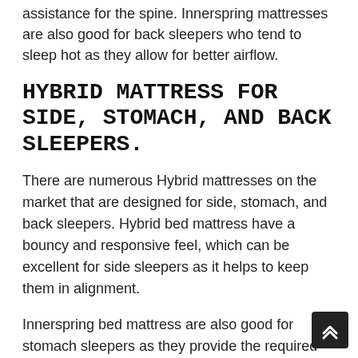assistance for the spine. Innerspring mattresses are also good for back sleepers who tend to sleep hot as they allow for better airflow.
HYBRID MATTRESS FOR SIDE, STOMACH, AND BACK SLEEPERS.
There are numerous Hybrid mattresses on the market that are designed for side, stomach, and back sleepers. Hybrid bed mattress have a bouncy and responsive feel, which can be excellent for side sleepers as it helps to keep them in alignment.
Innerspring bed mattress are also good for stomach sleepers as they provide the required support for the stomach and lower back. Innerspring mattresses are likewise good for back sleepers as they offer the necessary support for the spinal column.
Side sleepers should hybrid mattress as they find